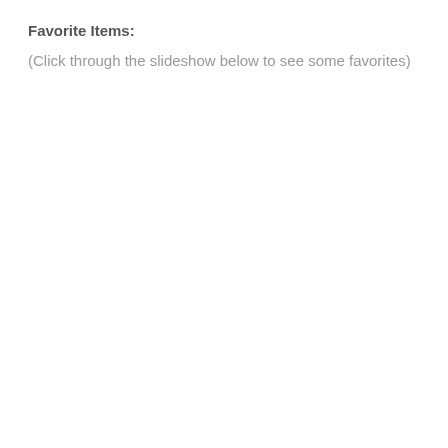Favorite Items:
(Click through the slideshow below to see some favorites)